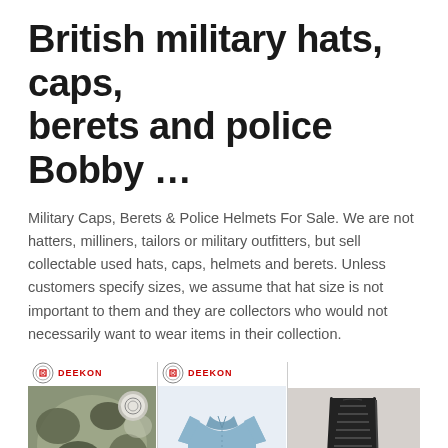British military hats, caps, berets and police Bobby …
Military Caps, Berets & Police Helmets For Sale. We are not hatters, milliners, tailors or military outfitters, but sell collectable used hats, caps, helmets and berets. Unless customers specify sizes, we assume that hat size is not important to them and they are collectors who would not necessarily want to wear items in their collection.
[Figure (photo): Three product images: camouflage fabric with DEEKON logo, a blue short-sleeve military shirt with DEEKON logo, and a black leather combat boot.]
Military Uniform S...